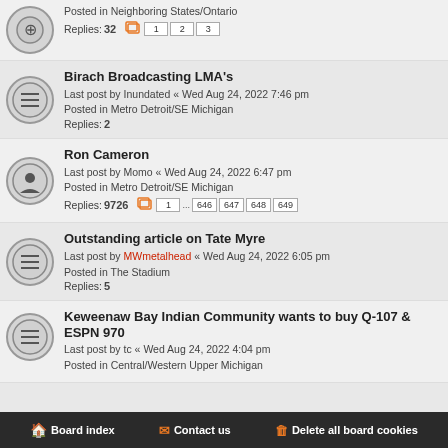Posted in Neighboring States/Ontario
Replies: 32 [pages: 1, 2, 3]
Birach Broadcasting LMA's
Last post by Inundated « Wed Aug 24, 2022 7:46 pm
Posted in Metro Detroit/SE Michigan
Replies: 2
Ron Cameron
Last post by Momo « Wed Aug 24, 2022 6:47 pm
Posted in Metro Detroit/SE Michigan
Replies: 9726 [pages: 1 ... 646, 647, 648, 649]
Outstanding article on Tate Myre
Last post by MWmetalhead « Wed Aug 24, 2022 6:05 pm
Posted in The Stadium
Replies: 5
Keweenaw Bay Indian Community wants to buy Q-107 & ESPN 970
Last post by tc « Wed Aug 24, 2022 4:04 pm
Posted in Central/Western Upper Michigan
Board index   Contact us   Delete all board cookies